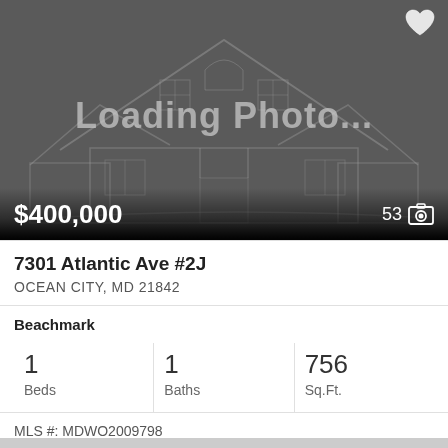[Figure (illustration): A dark gray placeholder image showing a wireframe/outline sketch of a two-story house, with 'Loading Photo...' text overlaid. Price $400,000 shown in bottom-left. '53' with camera icon in bottom-right. Heart/favorite icon top-right.]
7301 Atlantic Ave #2J
OCEAN CITY, MD 21842
Beachmark
| Beds | Baths | Sq.Ft. |
| --- | --- | --- |
| 1 | 1 | 756 |
MLS #: MDWO2009798